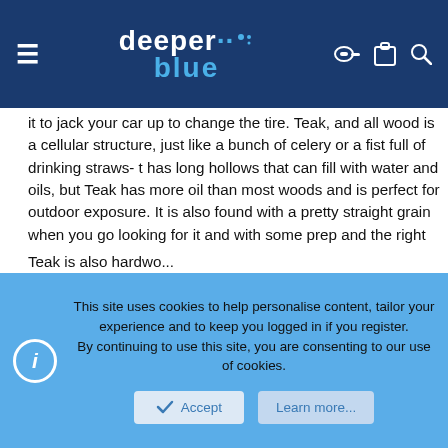deeper blue [website header with hamburger menu, logo, key, clipboard, and search icons]
it to jack your car up to change the tire. Teak, and all wood is a cellular structure, just like a bunch of celery or a fist full of drinking straws- t has long hollows that can fill with water and oils, but Teak has more oil than most woods and is perfect for outdoor exposure. It is also found with a pretty straight grain when you go looking for it and with some prep and the right stuff can be cut and laminated with epoxy to really make a barrel that will resist the tendecy to twist due to the grain's direction.
It has inherent bouyancy from those oil-filled cells and is quiet, or more quiet than metal barrels. But then the noise is mainly from the bands cutting loose... The oil also has a lubricity- it let's the shaft slide along without much fuss, though there are a few of us that coat the track with a graphite compound to get the absolute edge on things. 😎
Teak is also hardwoo... [partially visible bottom text]
This site uses cookies to help personalise content, tailor your experience and to keep you logged in if you register.
By continuing to use this site, you are consenting to our use of cookies.